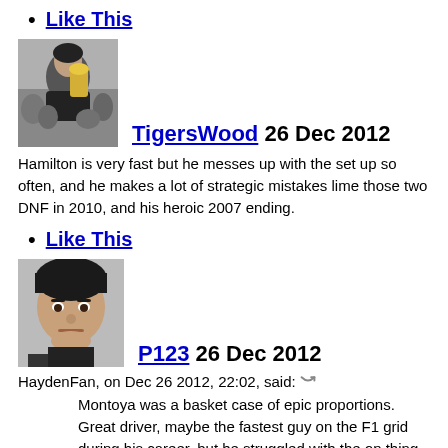Like This
[Figure (photo): Black and white photo of a man holding a trophy, surrounded by people]
TigersWood 26 Dec 2012
Hamilton is very fast but he messes up with the set up so often, and he makes a lot of strategic mistakes lime those two DNF in 2010, and his heroic 2007 ending.
Like This
[Figure (photo): Close-up photo of a man with a serious expression]
P123 26 Dec 2012
HaydenFan, on Dec 26 2012, 22:02, said:
Montoya was a basket case of epic proportions. Great driver, maybe the fastest guy on the F1 grid during his career, but he struggled with the on thing that kept him from being the world